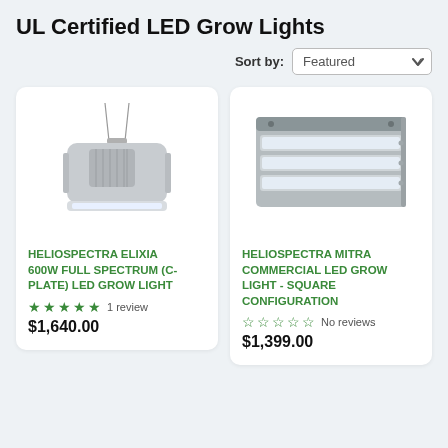UL Certified LED Grow Lights
Sort by: Featured
[Figure (photo): Heliospectra Elixia 600W LED grow light hanging unit, silver/grey colored, viewed from front-side angle]
HELIOSPECTRA ELIXIA 600W FULL SPECTRUM (C-PLATE) LED GROW LIGHT
★★★★★ 1 review
$1,640.00
[Figure (photo): Heliospectra Mitra commercial LED grow light, square configuration, flat panel with multiple bar sections, silver/grey]
HELIOSPECTRA MITRA COMMERCIAL LED GROW LIGHT - SQUARE CONFIGURATION
☆☆☆☆☆ No reviews
$1,399.00